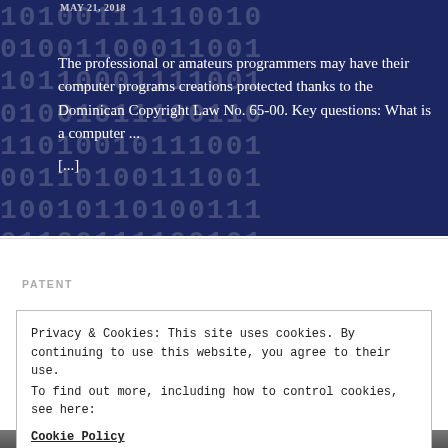[Figure (photo): Dark navy blue background with binary code digits (1s and 0s) overlaid in white/light text, serving as a decorative hero image for a blog post about Dominican Copyright Law and computer programs.]
The professional or amateurs programmers may have their computer programs creations protected thanks to the Dominican Copyright Law No. 65-00. Key questions: What is a computer ... [...]
PATENT
Privacy & Cookies: This site uses cookies. By continuing to use this website, you agree to their use.
To find out more, including how to control cookies, see here:
Cookie Policy